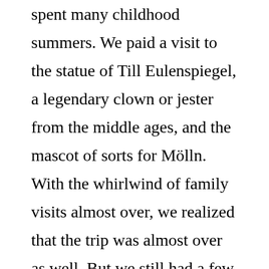spent many childhood summers. We paid a visit to the statue of Till Eulenspiegel, a legendary clown or jester from the middle ages, and the mascot of sorts for Mölln. With the whirlwind of family visits almost over, we realized that the trip was almost over as well. But we still had a few days left of biking, and we particularly tried to savor them, knowing that we would be in Denmark (where we were not planning to do any biking) in a few days, and back in California within a week. We stopped in Lubeck, famous